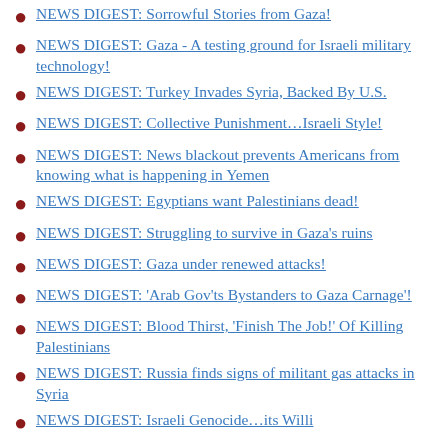NEWS DIGEST: Sorrowful Stories from Gaza!
NEWS DIGEST: Gaza - A testing ground for Israeli military technology!
NEWS DIGEST: Turkey Invades Syria, Backed By U.S.
NEWS DIGEST: Collective Punishment…Israeli Style!
NEWS DIGEST: News blackout prevents Americans from knowing what is happening in Yemen
NEWS DIGEST: Egyptians want Palestinians dead!
NEWS DIGEST: Struggling to survive in Gaza's ruins
NEWS DIGEST: Gaza under renewed attacks!
NEWS DIGEST: 'Arab Gov'ts Bystanders to Gaza Carnage'!
NEWS DIGEST: Blood Thirst, 'Finish The Job!' Of Killing Palestinians
NEWS DIGEST: Russia finds signs of militant gas attacks in Syria
NEWS DIGEST: Israeli Genocide…its Willi…